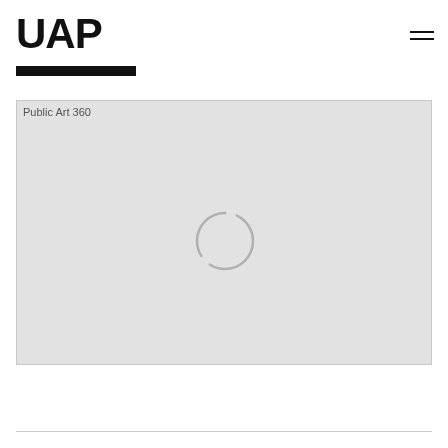UAP
[Figure (screenshot): Loading placeholder image area with alt text 'Public Art 360' and a circular loading spinner in the center, on a light gray background]